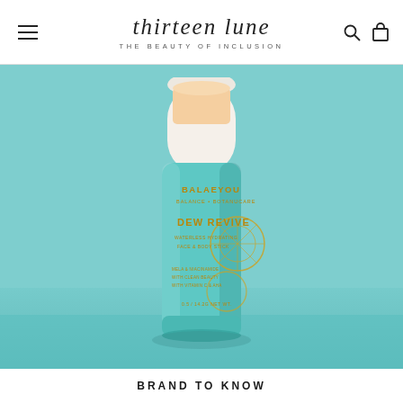thirteen lune — THE BEAUTY OF INCLUSION
[Figure (photo): A teal/turquoise cylindrical skincare stick product by Balaeyou, with white cap, gold text reading DEW REVIVE, Waterless Hydrating Face & Body Stick, on a teal background.]
BRAND TO KNOW